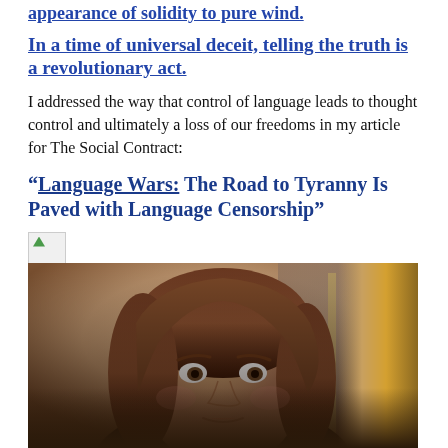appearance of solidity to pure wind.
In a time of universal deceit, telling the truth is a revolutionary act.
I addressed the way that control of language leads to thought control and ultimately a loss of our freedoms in my article for The Social Contract:
“Language Wars: The Road to Tyranny Is Paved with Language Censorship”
[Figure (photo): Broken image placeholder icon]
[Figure (photo): Close-up photograph of a woman with brown hair, appearing to be a politician, with an American flag blurred in the background]